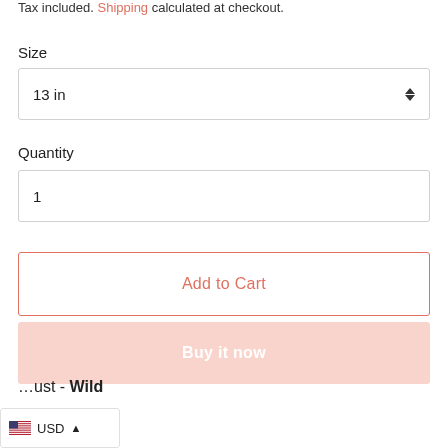Tax included. Shipping calculated at checkout.
Size
13 in
Quantity
1
Add to Cart
Buy it now
...ust - Wild
USD